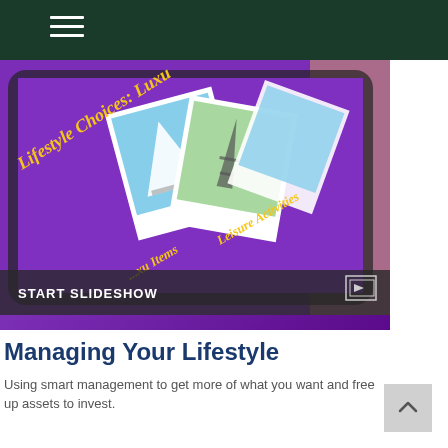Navigation header with hamburger menu
[Figure (photo): A person holding a tablet displaying a purple screen with polaroid-style photos including a sailboat and Eiffel Tower, with text 'Lifestyle Choices: Luxury Items, Leisure Activities' in yellow italic. A 'START SLIDESHOW' bar overlays the bottom of the image.]
Managing Your Lifestyle
Using smart management to get more of what you want and free up assets to invest.